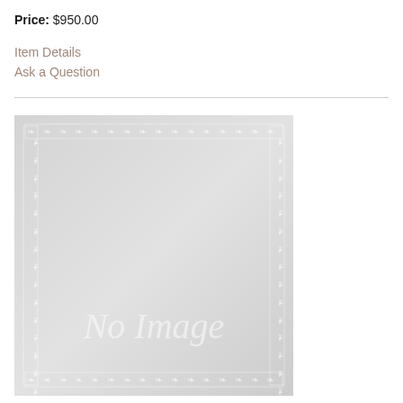Price: $950.00
Item Details
Ask a Question
[Figure (other): No Image placeholder — a light grey certificate-style decorative bordered rectangle with 'No Image' text in white italic serif font]